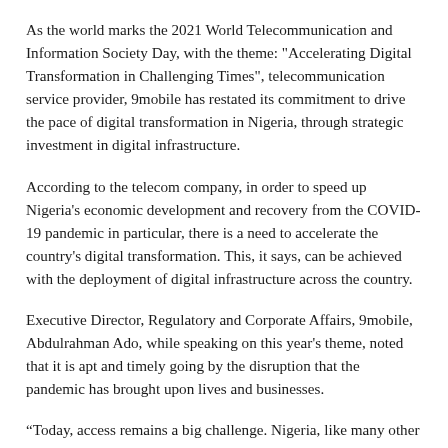As the world marks the 2021 World Telecommunication and Information Society Day, with the theme: "Accelerating Digital Transformation in Challenging Times", telecommunication service provider, 9mobile has restated its commitment to drive the pace of digital transformation in Nigeria, through strategic investment in digital infrastructure.
According to the telecom company, in order to speed up Nigeria's economic development and recovery from the COVID-19 pandemic in particular, there is a need to accelerate the country's digital transformation. This, it says, can be achieved with the deployment of digital infrastructure across the country.
Executive Director, Regulatory and Corporate Affairs, 9mobile, Abdulrahman Ado, while speaking on this year's theme, noted that it is apt and timely going by the disruption that the pandemic has brought upon lives and businesses.
“Today, access remains a big challenge. Nigeria, like many other developing countries, remains below the required level of investment in IT infrastructure that is necessary to achieve…